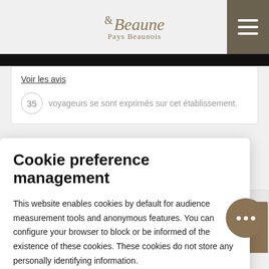Beaune & Pays Beaunois
Voir les avis
35 voyageurs se sont exprimés sur cet établissement.
Cookie preference management
This website enables cookies by default for audience measurement tools and anonymous features. You can configure your browser to block or be informed of the existence of these cookies. These cookies do not store any personally identifying information.
Read more
No thanks | I choose | Ok for me